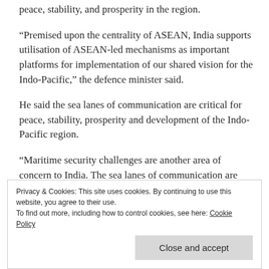peace, stability, and prosperity in the region.
“Premised upon the centrality of ASEAN, India supports utilisation of ASEAN-led mechanisms as important platforms for implementation of our shared vision for the Indo-Pacific,” the defence minister said.
He said the sea lanes of communication are critical for peace, stability, prosperity and development of the Indo-Pacific region.
“Maritime security challenges are another area of concern to India. The sea lanes of communication are critical for peace, stability, prosperity and development of the Indo-Pacific region,” he said.
Privacy & Cookies: This site uses cookies. By continuing to use this website, you agree to their use.
To find out more, including how to control cookies, see here: Cookie Policy
Close and accept